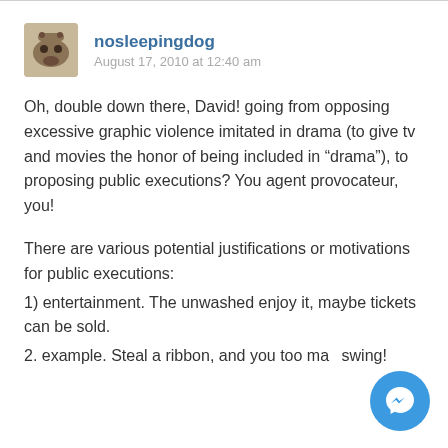nosleepingdog
August 17, 2010 at 12:40 am
Oh, double down there, David! going from opposing excessive graphic violence imitated in drama (to give tv and movies the honor of being included in “drama”), to proposing public executions? You agent provocateur, you!
There are various potential justifications or motivations for public executions:
1) entertainment. The unwashed enjoy it, maybe tickets can be sold.
2. example. Steal a ribbon, and you too may swing!